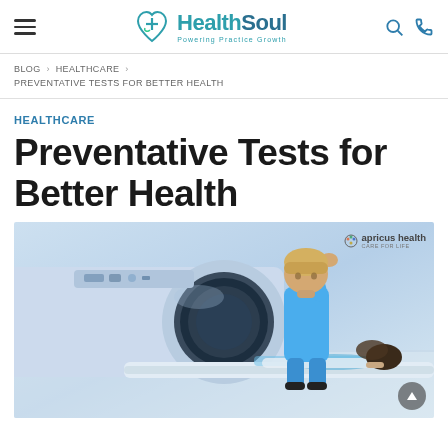HealthSoul — Powering Practice Growth
BLOG > HEALTHCARE > PREVENTATIVE TESTS FOR BETTER HEALTH
HEALTHCARE
Preventative Tests for Better Health
[Figure (photo): A healthcare professional in blue scrubs operating a CT/MRI scanner machine, with a patient lying on the scanning table. The image has an 'apricus health' watermark in the top right corner.]